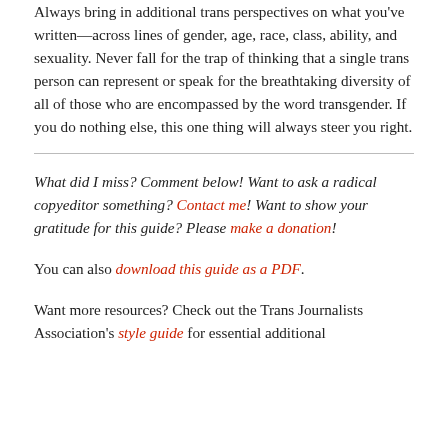Always bring in additional trans perspectives on what you've written—across lines of gender, age, race, class, ability, and sexuality. Never fall for the trap of thinking that a single trans person can represent or speak for the breathtaking diversity of all of those who are encompassed by the word transgender. If you do nothing else, this one thing will always steer you right.
What did I miss? Comment below! Want to ask a radical copyeditor something? Contact me! Want to show your gratitude for this guide? Please make a donation!
You can also download this guide as a PDF.
Want more resources? Check out the Trans Journalists Association's style guide for essential additional